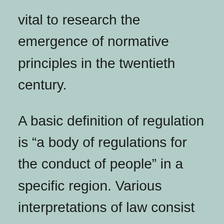vital to research the emergence of normative principles in the twentieth century.
A basic definition of regulation is “a body of regulations for the conduct of people” in a specific region. Various interpretations of law consist of science and also the art of justice. Typically, regulations are made by a team or solitary legislature or are enacted by courts or administrative bodies. It is likewise feasible for private people to create binding agreements or adjudication agreements that are legally binding. So, the question of what comprises law is necessary in understanding this idea